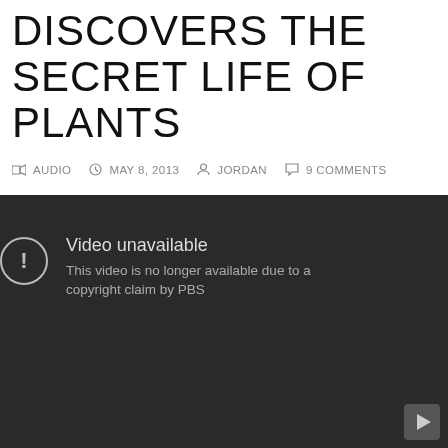DISCOVERS THE SECRET LIFE OF PLANTS
AUDIO  MAY 8, 2013  JORDAN  9 COMMENTS
[Figure (screenshot): Embedded video player showing error message: 'Video unavailable. This video is no longer available due to a copyright claim by PBS.']